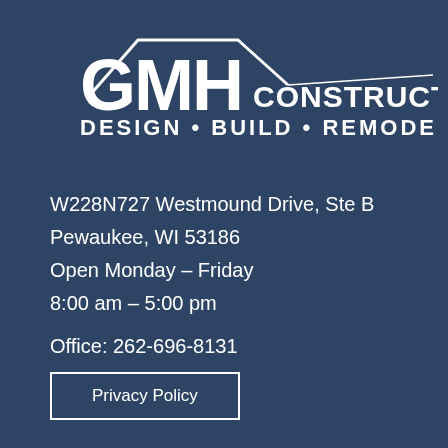[Figure (logo): GMH Construction logo with house roof outline, large bold GMH letters and CONSTRUCTION text, tagline DESIGN • BUILD • REMODEL]
W228N727 Westmound Drive, Ste B
Pewaukee, WI 53186
Open Monday – Friday
8:00 am – 5:00 pm
Office: 262-696-8131
Privacy Policy